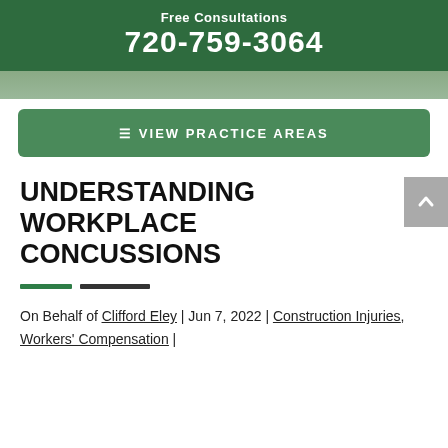Free Consultations
720-759-3064
[Figure (photo): Partial photo strip showing outdoor/nature scene in muted green tones]
≡ VIEW PRACTICE AREAS
UNDERSTANDING WORKPLACE CONCUSSIONS
On Behalf of Clifford Eley | Jun 7, 2022 | Construction Injuries, Workers' Compensation |